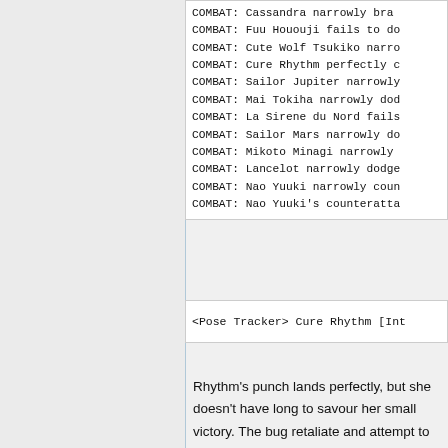COMBAT: Cassandra narrowly bra...
COMBAT: Fuu Hououji fails to do...
COMBAT: Cute Wolf Tsukiko narro...
COMBAT: Cure Rhythm perfectly c...
COMBAT: Sailor Jupiter narrowly...
COMBAT: Mai Tokiha narrowly dod...
COMBAT: La Sirene du Nord fails...
COMBAT: Sailor Mars narrowly do...
COMBAT: Mikoto Minagi narrowly...
COMBAT: Lancelot narrowly dodge...
COMBAT: Nao Yuuki narrowly coun...
COMBAT: Nao Yuuki's counteratta...
<Pose Tracker> Cure Rhythm [Int...
Rhythm's punch lands perfectly, but she doesn't have long to savour her small victory. The bug retaliate and attempt to bite her. Even though it would be tiny bites, with their large numbers, it was an...